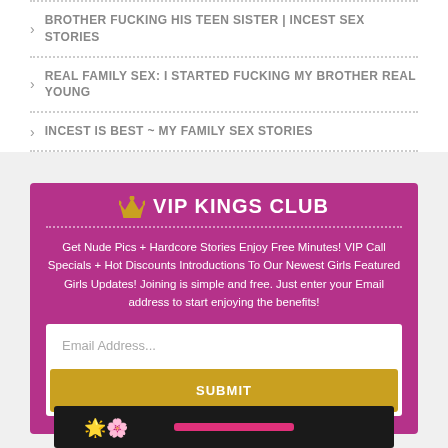BROTHER FUCKING HIS TEEN SISTER | INCEST SEX STORIES
REAL FAMILY SEX: I STARTED FUCKING MY BROTHER REAL YOUNG
INCEST IS BEST ~ MY FAMILY SEX STORIES
👑 VIP KINGS CLUB
Get Nude Pics + Hardcore Stories Enjoy Free Minutes! VIP Call Specials + Hot Discounts Introductions To Our Newest Girls Featured Girls Updates! Joining is simple and free. Just enter your Email address to start enjoying the benefits!
[Figure (other): Dark banner at bottom with white icons and pink bar]